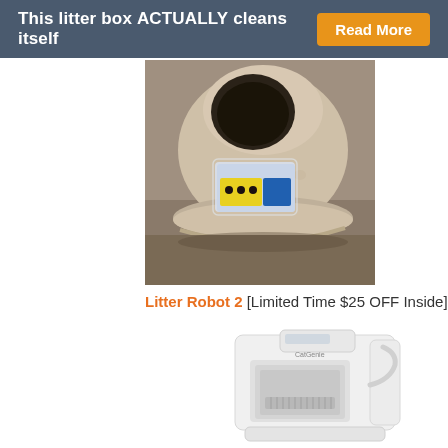This litter box ACTUALLY cleans itself  Read More
[Figure (photo): Photo of a Litter Robot 2 self-cleaning litter box, beige/tan colored globe-shaped unit with a label sticker visible on the front]
Litter Robot 2 [Limited Time $25 OFF Inside]
[Figure (photo): Photo of a CatGenie self-cleaning litter box, white colored rectangular unit with an open front showing internal components]